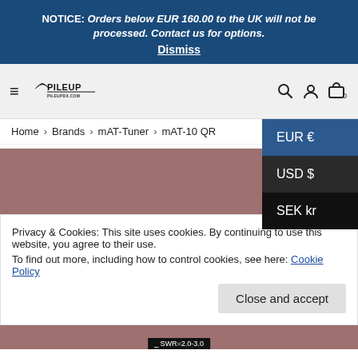NOTICE: Orders below EUR 160.00 to the UK will not be processed. Contact us for options. Dismiss
[Figure (logo): PileUp / PileUpDX.com logo with radio wave symbol]
Home > Brands > mAT-Tuner > mAT-10 QR
EUR €
USD $
SEK kr
[Figure (photo): Product image with brownish/mauve background]
Privacy & Cookies: This site uses cookies. By continuing to use this website, you agree to their use.
To find out more, including how to control cookies, see here: Cookie Policy
Close and accept
[Figure (photo): Bottom product image strip with SWR=2.0-3.0 label visible]